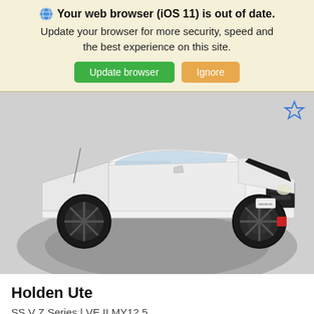Your web browser (iOS 11) is out of date. Update your browser for more security, speed and the best experience on this site.
[Figure (screenshot): Browser update warning banner with 'Update browser' green button and 'Ignore' orange button]
[Figure (photo): White Holden Ute SS V Z Series VE II MY12.5 ute/truck on a dark grey turntable platform, photographed from a front 3/4 angle]
Holden Ute
SS V Z Series | VE II MY12.5